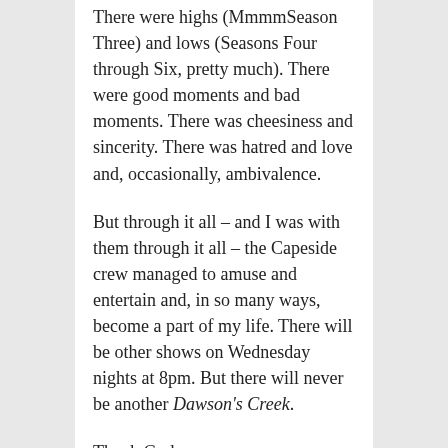There were highs (MmmmSeason Three) and lows (Seasons Four through Six, pretty much). There were good moments and bad moments. There was cheesiness and sincerity. There was hatred and love and, occasionally, ambivalence.
But through it all – and I was with them through it all – the Capeside crew managed to amuse and entertain and, in so many ways, become a part of my life. There will be other shows on Wednesday nights at 8pm. But there will never be another Dawson's Creek.
Thank God.
And, you know, I'll miss it.
Amy: Pass the tissues, will you dear?